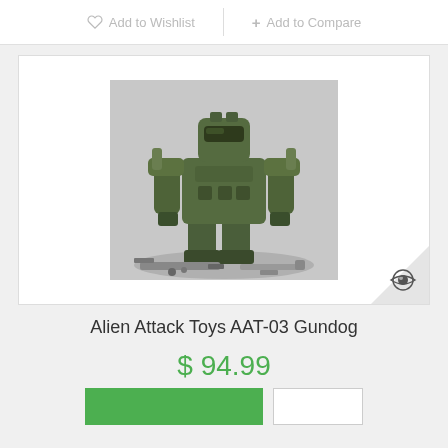Add to Wishlist
+ Add to Compare
[Figure (photo): Product photo of Alien Attack Toys AAT-03 Gundog robot action figure in olive/military green armor, displayed with accessories and weapons laid out in front of it against a grey background.]
Alien Attack Toys AAT-03 Gundog
$ 94.99